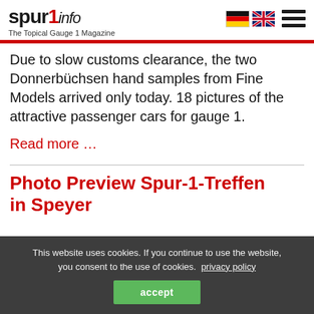spur 1 info — The Topical Gauge 1 Magazine
Due to slow customs clearance, the two Donnerbüchsen hand samples from Fine Models arrived only today. 18 pictures of the attractive passenger cars for gauge 1.
Read more …
Photo Preview Spur-1-Treffen in Speyer
This website uses cookies. If you continue to use the website, you consent to the use of cookies. privacy policy accept